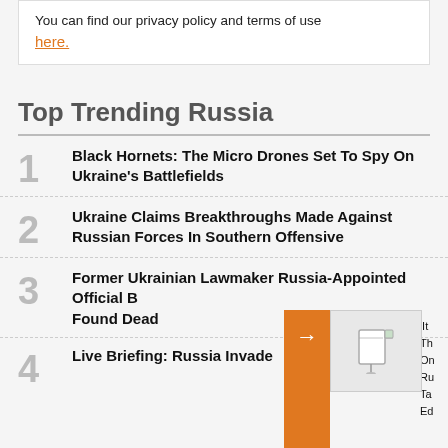You can find our privacy policy and terms of use here.
Top Trending Russia
1 Black Hornets: The Micro Drones Set To Spy On Ukraine's Battlefields
2 Ukraine Claims Breakthroughs Made Against Russian Forces In Southern Offensive
3 Former Ukrainian Lawmaker Russia-Appointed Official B Found Dead
4 Live Briefing: Russia Invade...